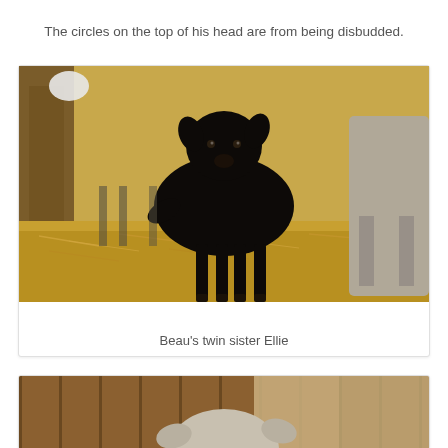The circles on the top of his head are from being disbudded.
[Figure (photo): A black baby goat (kid) standing upright facing the camera in a barn with straw on the ground. Another larger goat visible to the right. Caption reads: Beau's twin sister Ellie.]
Beau's twin sister Ellie
[Figure (photo): Bottom portion of a photo showing the top of a goat's head inside a barn, partially visible at the bottom of the page.]